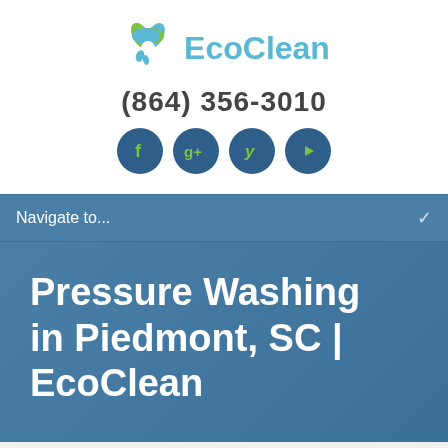[Figure (logo): EcoClean logo with green leaf/flower icon and blue 'EcoClean' text]
(864) 356-3010
[Figure (infographic): Four dark blue circular social media icons: Facebook, Google+, Yelp, YouTube with green icons inside]
Navigate to...
Pressure Washing in Piedmont, SC | EcoClean
Home » Pressure Washing in Piedmont, SC | EcoClean